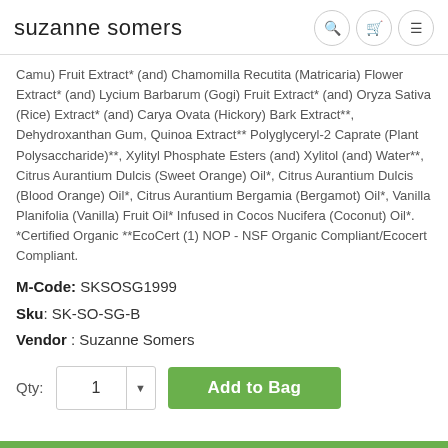suzanne somers
Camu) Fruit Extract* (and) Chamomilla Recutita (Matricaria) Flower Extract* (and) Lycium Barbarum (Gogi) Fruit Extract* (and) Oryza Sativa (Rice) Extract* (and) Carya Ovata (Hickory) Bark Extract**, Dehydroxanthan Gum, Quinoa Extract** Polyglyceryl-2 Caprate (Plant Polysaccharide)**, Xylityl Phosphate Esters (and) Xylitol (and) Water**, Citrus Aurantium Dulcis (Sweet Orange) Oil*, Citrus Aurantium Dulcis (Blood Orange) Oil*, Citrus Aurantium Bergamia (Bergamot) Oil*, Vanilla Planifolia (Vanilla) Fruit Oil* Infused in Cocos Nucifera (Coconut) Oil*. *Certified Organic **EcoCert (1) NOP - NSF Organic Compliant/Ecocert Compliant.
M-Code: SKSOSG1999
Sku: SK-SO-SG-B
Vendor : Suzanne Somers